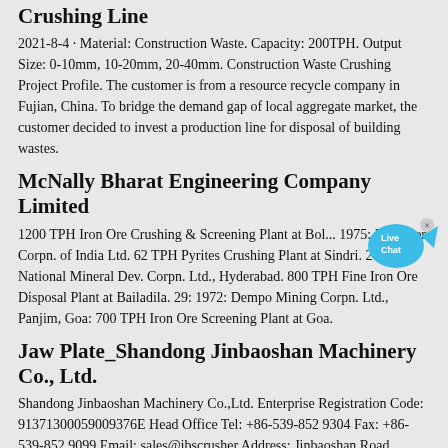Crushing Line
2021-8-4 · Material: Construction Waste. Capacity: 200TPH. Output Size: 0-10mm, 10-20mm, 20-40mm. Construction Waste Crushing Project Profile. The customer is from a resource recycle company in Fujian, China. To bridge the demand gap of local aggregate market, the customer decided to invest a production line for disposal of building wastes.
McNally Bharat Engineering Company Limited
1200 TPH Iron Ore Crushing & Screening Plant at Bol... 1975: Fertilizer Corpn. of India Ltd. 62 TPH Pyrites Crushing Plant at Sindri. 28: 1973: National Mineral Dev. Corpn. Ltd., Hyderabad. 800 TPH Fine Iron Ore Disposal Plant at Bailadila. 29: 1972: Dempo Mining Corpn. Ltd., Panjim, Goa: 700 TPH Iron Ore Screening Plant at Goa.
Jaw Plate_Shandong Jinbaoshan Machinery Co., Ltd.
Shandong Jinbaoshan Machinery Co.,Ltd. Enterprise Registration Code: 91371300059009376E Head Office Tel: +86-539-852 9304 Fax: +86- 539-852 9099 Email: sales@jbscrusher Address: Jinbaoshan Road, New& High Technology Industry
Vertical mill design aggregate crushing plant